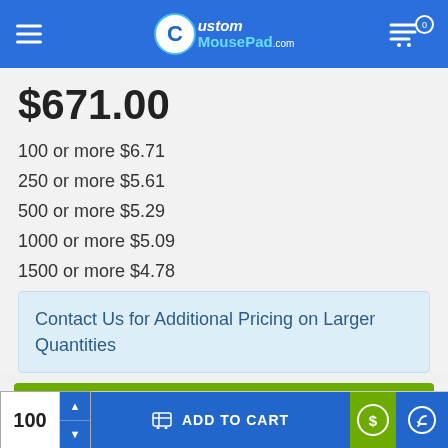CustomMousePad.com
$671.00
100 or more $6.71
250 or more $5.61
500 or more $5.29
1000 or more $5.09
1500 or more $4.78
Contact Us for Additional Pricing on Larger Quantities
CONTACT US
100  ADD TO CART